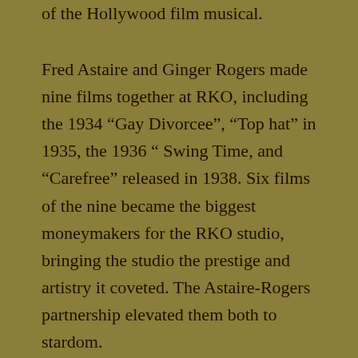of the Hollywood film musical.
Fred Astaire and Ginger Rogers made nine films together at RKO, including the 1934 “Gay Divorcee”, “Top hat” in 1935, the 1936 “ Swing Time, and “Carefree” released in 1938. Six films of the nine became the biggest moneymakers for the RKO studio, bringing the studio the prestige and artistry it coveted. The Astaire-Rogers partnership elevated them both to stardom.
Fed Astaire was given complete autonomy over the dance production. He is credited with two important innovations in early film musicals: Astaire insisted that a closely tracking dolly camera film a dance routine in as few shots as possible, typically with just four to eight